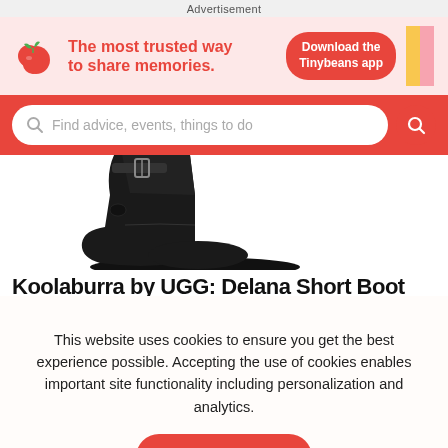Advertisement
[Figure (illustration): Tinybeans advertisement banner: strawberry/cherry icon on pink background with text 'The most trusted way to share memories.' and red 'Download the Tinybeans app' button]
[Figure (screenshot): Red search bar with placeholder text 'Find advice, events, things to do' and red circular search button]
[Figure (photo): Black UGG suede ankle boot with buckle strap on white background]
Koolaburra by UGG: Delana Short Boot
This website uses cookies to ensure you get the best experience possible. Accepting the use of cookies enables important site functionality including personalization and analytics.
Accept
Decline